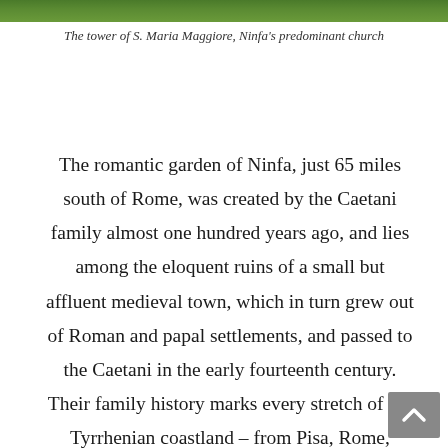[Figure (photo): Top strip showing green garden/grass landscape, the tower of S. Maria Maggiore at Ninfa]
The tower of S. Maria Maggiore, Ninfa's predominant church
The romantic garden of Ninfa, just 65 miles south of Rome, was created by the Caetani family almost one hundred years ago, and lies among the eloquent ruins of a small but affluent medieval town, which in turn grew out of Roman and papal settlements, and passed to the Caetani in the early fourteenth century. Their family history marks every stretch of the Tyrrhenian coastland – from Pisa, Rome, Cisterna, Ninfa, and Sermoneta and on down to